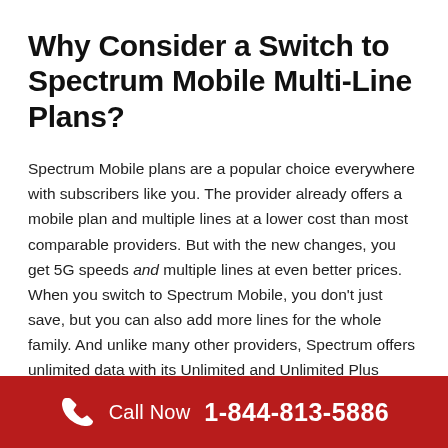Why Consider a Switch to Spectrum Mobile Multi-Line Plans?
Spectrum Mobile plans are a popular choice everywhere with subscribers like you. The provider already offers a mobile plan and multiple lines at a lower cost than most comparable providers. But with the new changes, you get 5G speeds and multiple lines at even better prices. When you switch to Spectrum Mobile, you don't just save, but you can also add more lines for the whole family. And unlike many other providers, Spectrum offers unlimited data with its Unlimited and Unlimited Plus plans.
That makes it the perfect provider for family data plans. These
Call Now  1-844-813-5886